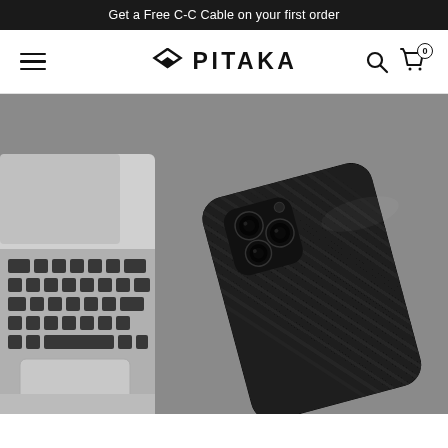Get a Free C-C Cable on your first order
[Figure (logo): PITAKA brand logo with diamond/arrow shaped icon and bold text PITAKA]
[Figure (photo): Photo of a black carbon fiber iPhone case placed on a gray surface next to a MacBook laptop keyboard, shot from above at an angle]